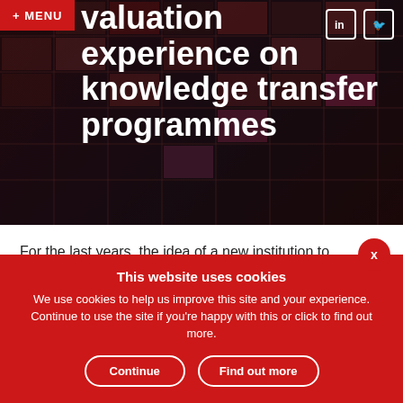+ MENU
valuation experience on knowledge transfer programmes
[Figure (photo): Three author profile photos/avatars in circular frames]
For the last years, the idea of a new institution to strengthen knowledge and technology transfer from science to society has been discussed in the German innovation policy debate. The policy measures to support young companies about the application of be in handpointings. to duplicate mentioned as a weakness of the German innovation system. With this in mind, the new government coalition has announced the creation
This website uses cookies
We use cookies to help us improve this site and your experience. Continue to use the site if you're happy with this or click to find out more.
Continue | Find out more